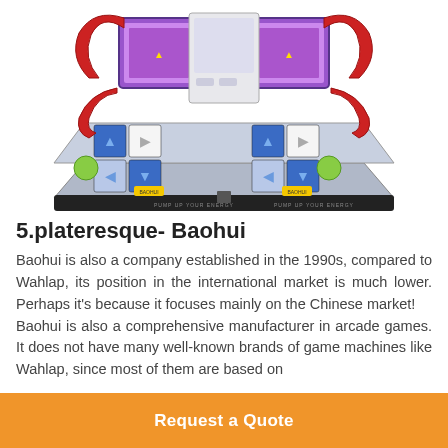[Figure (photo): Photo of an arcade dance machine (Dance Dance Revolution style) with red curved handle bars, illuminated step panels with arrow buttons, and 'PUMP UP YOUR ENERGY' text on the base. The machine has two sides for two players.]
5.plateresque- Baohui
Baohui is also a company established in the 1990s, compared to Wahlap, its position in the international market is much lower. Perhaps it's because it focuses mainly on the Chinese market! Baohui is also a comprehensive manufacturer in arcade games. It does not have many well-known brands of game machines like Wahlap, since most of them are based on
Request a Quote